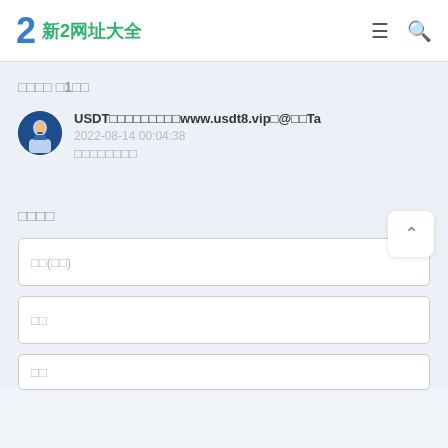2 新2网址大全
□□□□ □1□□
USDT□□□□□□□□□www.usdt8.vip□@□□Ta
2022-08-14 00:04:38
□□□□□□□□
□□□□
□□(□□)
□□
□□